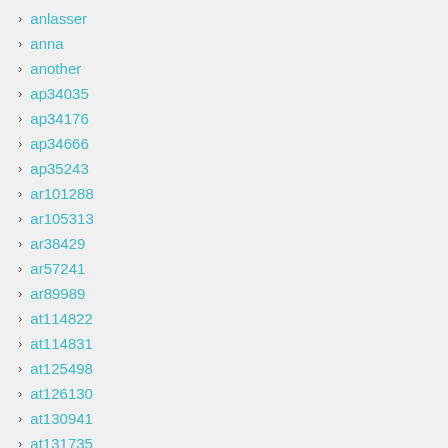anlasser
anna
another
ap34035
ap34176
ap34666
ap35243
ar101288
ar105313
ar38429
ar57241
ar89989
at114822
at114831
at125498
at126130
at130941
at131735
at139377